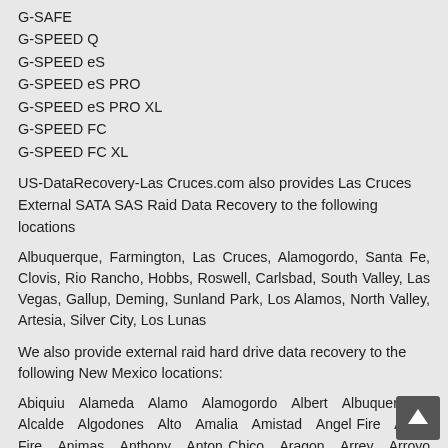G-SAFE
G-SPEED Q
G-SPEED eS
G-SPEED eS PRO
G-SPEED eS PRO XL
G-SPEED FC
G-SPEED FC XL
US-DataRecovery-Las Cruces.com also provides Las Cruces External SATA SAS Raid Data Recovery to the following locations
Albuquerque, Farmington, Las Cruces, Alamogordo, Santa Fe, Clovis, Rio Rancho, Hobbs, Roswell, Carlsbad, South Valley, Las Vegas, Gallup, Deming, Sunland Park, Los Alamos, North Valley, Artesia, Silver City, Los Lunas
We also provide external raid hard drive data recovery to the following New Mexico locations:
Abiquiu  Alameda  Alamo  Alamogordo  Albert  Albuquerque  Alcalde  Algodones  Alto  Amalia  Amistad  Angel Fire  Angel Fire  Animas  Anthony  Anton Chico  Aragon  Arrey  Arroyo Hondo  Arroyo Seco  Artesia  Aztec  Bayard  Belen  Bell Ranch  Bent  Berino  Bernalillo  Blanco  Bloomfield  Bluewater  Bosque  Bosque Farms  Boys Ranch  Brimhall  Broadview  Buckhorn  Buena Vista  Caballo  Canjilon  Cannon AFB  Canoncito  Canones  Capitan  Capulin  Carlsbad  Carrizozo  Carson  Casa Blanca  Causey  Cebolla  Cedar Crest  Cedarvale  Cerrillos  Cerro  Chacon  Chama